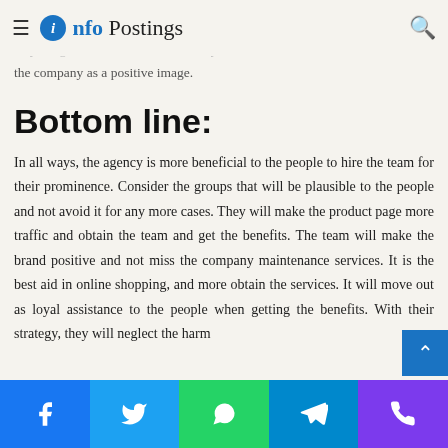Info Postings
develop the business at the high level. Make sure to consider the cases and do not avoid them in any more cases, and may not get better aid on it. That's why it needs to maintain the company as a positive image.
Bottom line:
In all ways, the agency is more beneficial to the people to hire the team for their prominence. Consider the groups that will be plausible to the people and not avoid it for any more cases. They will make the product page more traffic and obtain the team and get the benefits. The team will make the brand positive and not miss the company maintenance services. It is the best aid in online shopping, and more obtain the services. It will move out as loyal assistance to the people when getting the benefits. With their strategy, they will neglect the harm